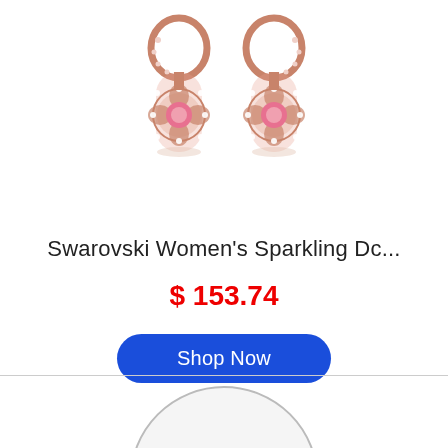[Figure (photo): Rose gold Swarovski drop earrings with pink crystal center stones surrounded by small clear crystals, on hoop clasps with crystal detailing.]
Swarovski Women's Sparkling Dc...
$ 153.74
Shop Now
[Figure (other): Circle with text NO IMAGE AVAILABLE inside]